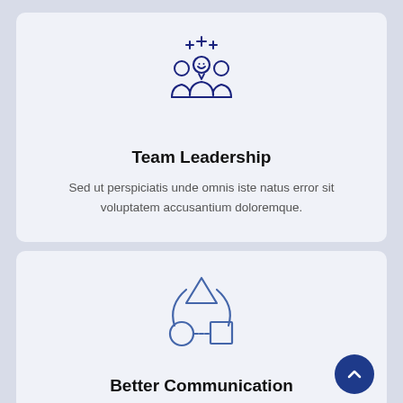[Figure (illustration): Line icon of three people representing a team, with sparkle stars above, drawn in dark navy blue]
Team Leadership
Sed ut perspiciatis unde omnis iste natus error sit voluptatem accusantium doloremque.
[Figure (illustration): Line icon showing geometric shapes: a triangle at top, circle at bottom-left, square at bottom-right, connected by a curved line arc, in medium blue outline]
Better Communication